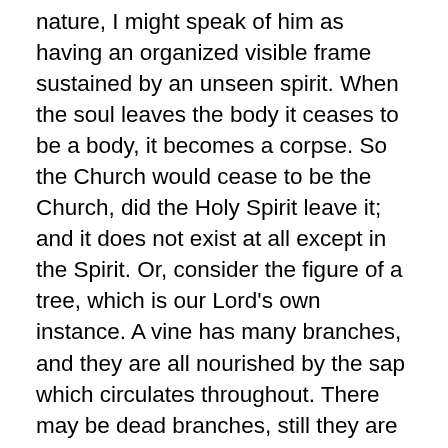nature, I might speak of him as having an organized visible frame sustained by an unseen spirit. When the soul leaves the body it ceases to be a body, it becomes a corpse. So the Church would cease to be the Church, did the Holy Spirit leave it; and it does not exist at all except in the Spirit. Or, consider the figure of a tree, which is our Lord's own instance. A vine has many branches, and they are all nourished by the sap which circulates throughout. There may be dead branches, still they are upon one and the selfsame tree. Were they as numerous as the sound ones, were they a hundred times as many, they would not form a tree by themselves. Were all the branches dead, were the stock dead, then it would be a dead tree. But any how, we could never say there were two trees. Such is the Scripture account of the Church, a living body with branches, some dead, some living; as in the text by